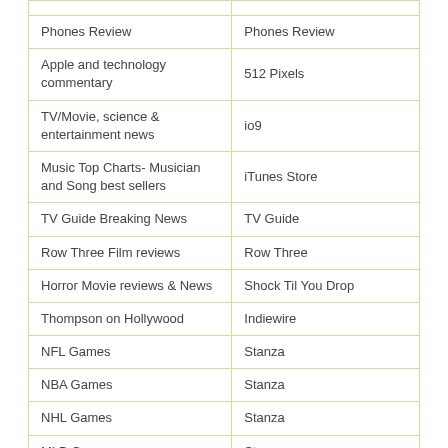|  |  |
| --- | --- |
|  |  |
| Phones Review | Phones Review |
| Apple and technology commentary | 512 Pixels |
| TV/Movie, science & entertainment news | io9 |
| Music Top Charts- Musician and Song best sellers | iTunes Store |
| TV Guide Breaking News | TV Guide |
| Row Three Film reviews | Row Three |
| Horror Movie reviews & News | Shock Til You Drop |
| Thompson on Hollywood | Indiewire |
| NFL Games | Stanza |
| NBA Games | Stanza |
| NHL Games | Stanza |
| MLB Games | Stanza |